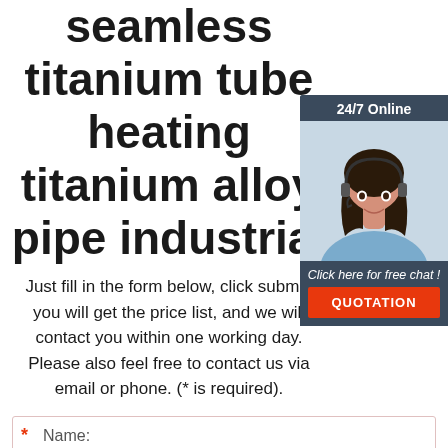seamless titanium tube heating titanium alloy pipe industrial
Just fill in the form below, click submit, you will get the price list, and we will contact you within one working day. Please also feel free to contact us via email or phone. (* is required).
[Figure (illustration): Customer service chat widget with 24/7 Online label, photo of smiling woman with headset, 'Click here for free chat!' text, and orange QUOTATION button]
* Name:
* Email: